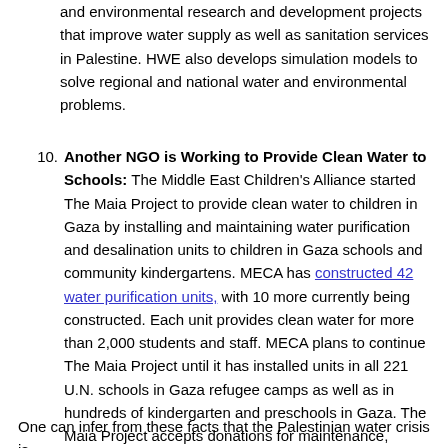and environmental research and development projects that improve water supply as well as sanitation services in Palestine. HWE also develops simulation models to solve regional and national water and environmental problems.
Another NGO is Working to Provide Clean Water to Schools: The Middle East Children's Alliance started The Maia Project to provide clean water to children in Gaza by installing and maintaining water purification and desalination units to children in Gaza schools and community kindergartens. MECA has constructed 42 water purification units, with 10 more currently being constructed. Each unit provides clean water for more than 2,000 students and staff. MECA plans to continue The Maia Project until it has installed units in all 221 U.N. schools in Gaza refugee camps as well as in hundreds of kindergarten and preschools in Gaza. The Maia Project accepts donations for maintenance, cleaning and purchases of water purification units and drinking fountains on its website. As of June 2020, it raised about $78,000 of its $80,000 goal.
One can infer from these facts that the Palestinian water crisis is